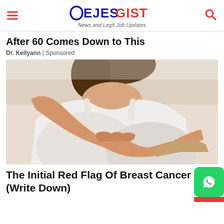EJESGIST — News and Legit Job Updates
After 60 Comes Down to This
Dr. Kellyann | Sponsored
[Figure (photo): Close-up photo of a woman in a white tank top performing a breast self-examination with both hands]
The Initial Red Flag Of Breast Cancer (Write Down)